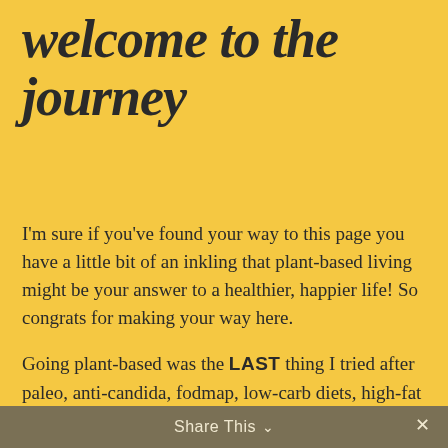welcome to the journey
I'm sure if you've found your way to this page you have a little bit of an inkling that plant-based living might be your answer to a healthier, happier life! So congrats for making your way here.
Going plant-based was the LAST thing I tried after paleo, anti-candida, fodmap, low-carb diets, high-fat diets, whole 30, avoiding this, avoiding that, trying this remedy, tons of cleanses,  tons of supplements, enemas, colonic hydrotherapy, you name it, i've tried it....
Share This ∨  ✕